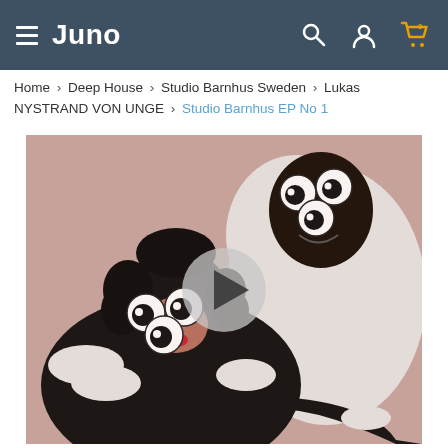Juno
Home › Deep House › Studio Barnhus Sweden › Lukas NYSTRAND VON UNGE › Studio Barnhus EP No 1
[Figure (photo): Two people wearing black costumes with large googly-eye glasses/masks, one in the foreground and one in the upper right. A video play button overlay is centered on the image. The image appears to be album artwork for Studio Barnhus EP No 1 by Lukas Nystrand Von Unge.]